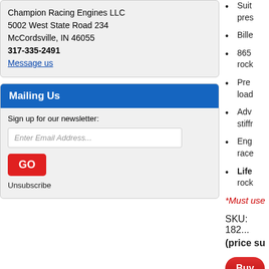Champion Racing Engines LLC
5002 West State Road 234
McCordsville, IN 46055
317-335-2491
Message us
Mailing Us
Sign up for our newsletter:
Enter Email Address...
GO
Unsubscribe
Suit... pres...
Bille...
865... rock...
Pre... load...
Adv... stiffr...
Eng... race...
Life... rock...
*Must use
SKU: 182...
(price su...
Buy